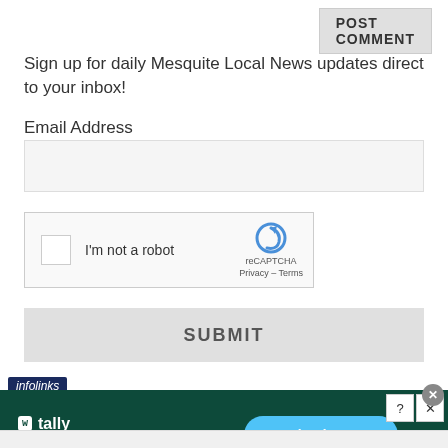POST COMMENT
Sign up for daily Mesquite Local News updates direct to your inbox!
Email Address
[Figure (screenshot): Email address input field, a grey rectangle input box]
[Figure (screenshot): reCAPTCHA widget with checkbox 'I'm not a robot' and reCAPTCHA logo]
SUBMIT
infolinks
[Figure (screenshot): Advertisement banner for Tally app: 'Fast credit card payoff' with 'Download Now' button on dark green background]